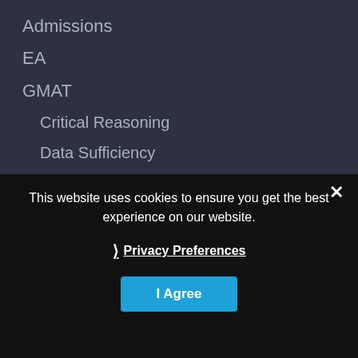Admissions
EA
GMAT
Critical Reasoning
Data Sufficiency
Meta-Strategy
GMAT Scoring
Test Reading
Timing
Quant
Algebra
Arithmetic
Combinatorics
This website uses cookies to ensure you get the best experience on our website.
Privacy Preferences
I Agree